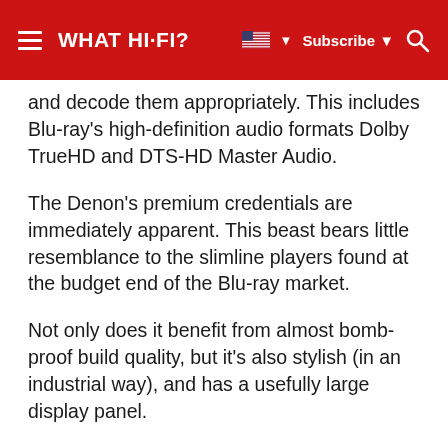WHAT HI-FI?  Subscribe
and decode them appropriately. This includes Blu-ray's high-definition audio formats Dolby TrueHD and DTS-HD Master Audio.
The Denon's premium credentials are immediately apparent. This beast bears little resemblance to the slimline players found at the budget end of the Blu-ray market.
Not only does it benefit from almost bomb-proof build quality, but it's also stylish (in an industrial way), and has a usefully large display panel.
But, of course, it's the performance that is of primary concern to us – and this is a sensational performer.